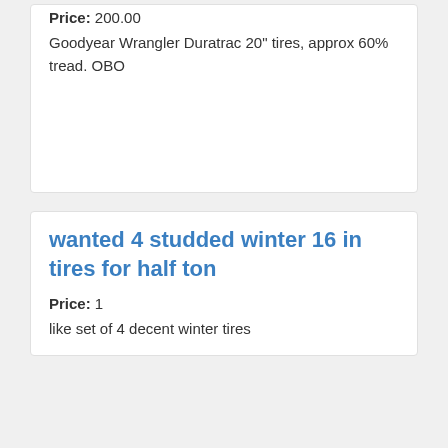Price: 200.00
Goodyear Wrangler Duratrac 20" tires, approx 60% tread. OBO
wanted 4 studded winter 16 in tires for half ton
Price: 1
like set of 4 decent winter tires